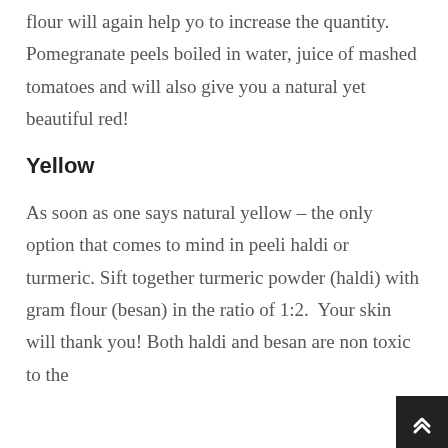flour will again help yo to increase the quantity. Pomegranate peels boiled in water, juice of mashed tomatoes and will also give you a natural yet beautiful red!
Yellow
As soon as one says natural yellow – the only option that comes to mind in peeli haldi or turmeric. Sift together turmeric powder (haldi) with gram flour (besan) in the ratio of 1:2.  Your skin will thank you! Both haldi and besan are non toxic to the